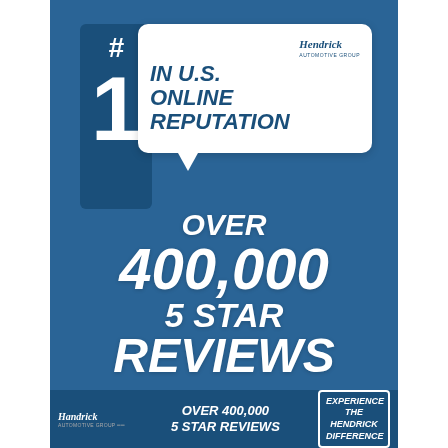[Figure (infographic): Hendrick Automotive Group infographic: #1 in U.S. Online Reputation, Over 400,000 5 Star Reviews. Blue background with speech bubble graphic and crowd overlay. Bottom bar with logo, stat, and call-to-action.]